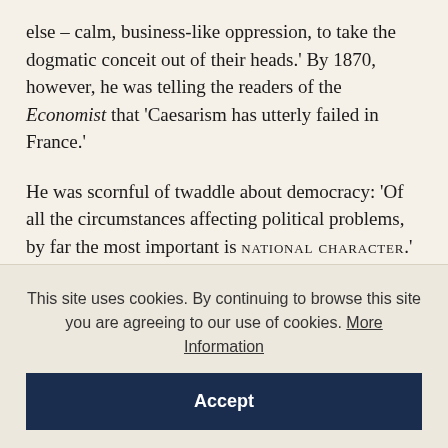else – calm, business-like oppression, to take the dogmatic conceit out of their heads.' By 1870, however, he was telling the readers of the Economist that 'Caesarism has utterly failed in France.'
He was scornful of twaddle about democracy: 'Of all the circumstances affecting political problems, by far the most important is national character.' It was 'the least changeable thing in this ever-changeful world'. Only a few years later, though, in Physics and Politics, he was declaring, with equal
This site uses cookies. By continuing to browse this site you are agreeing to our use of cookies. More Information
Accept